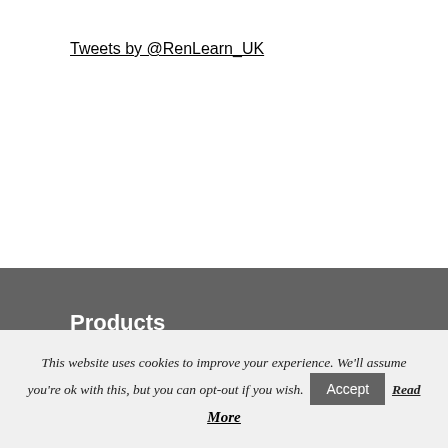Tweets by @RenLearn_UK
Products
We believe that more than anything, teachers shape student outcomes. We believe everyone can be a successful learner. We believe every student should have the chance to reach his or her full potential. We light their path toward growth.
View products
This website uses cookies to improve your experience. We'll assume you're ok with this, but you can opt-out if you wish. Accept Read More